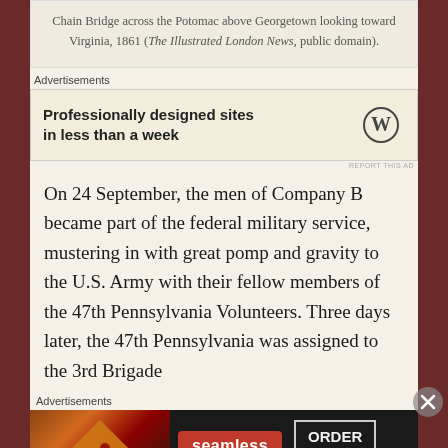Chain Bridge across the Potomac above Georgetown looking toward Virginia, 1861 (The Illustrated London News, public domain).
Advertisements
[Figure (other): WordPress advertisement: 'Professionally designed sites in less than a week' with WordPress logo]
On 24 September, the men of Company B became part of the federal military service, mustering in with great pomp and gravity to the U.S. Army with their fellow members of the 47th Pennsylvania Volunteers. Three days later, the 47th Pennsylvania was assigned to the 3rd Brigade
Advertisements
[Figure (other): Seamless food delivery advertisement with pizza image, Seamless logo, and ORDER NOW button]